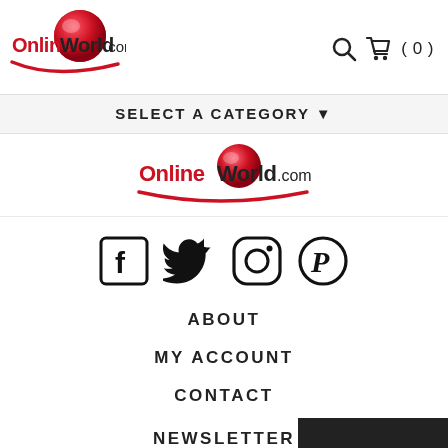[Figure (logo): OnlineWorld.com logo with red globe and red swoosh]
[Figure (infographic): Search icon and shopping cart icon with (0) label]
SELECT A CATEGORY ▼
[Figure (logo): OnlineWorld.com logo centered, red text with red globe and swoosh]
[Figure (infographic): Social media icons: Facebook, Twitter, Instagram, Pinterest]
ABOUT
MY ACCOUNT
CONTACT
NEWSLETTER